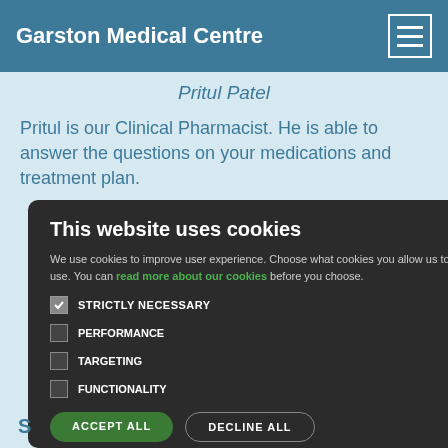Garston Medical Centre
Pritul Patel
Pritul is our Clinical Pharmacist. He is able to answer the questions on your medications and treatment plan.
This website uses cookies
We use cookies to improve user experience. Choose what cookies you allow us to use. You can read more about our cookies before you choose.
STRICTLY NECESSARY
PERFORMANCE
TARGETING
FUNCTIONALITY
ACCEPT ALL
DECLINE ALL